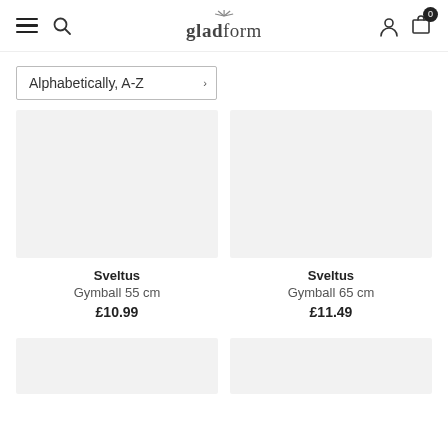gladform — navigation header with hamburger menu, search, logo, user icon, cart (0)
Alphabetically, A-Z
[Figure (photo): Product image placeholder (light grey rectangle) for Sveltus Gymball 55 cm]
Sveltus
Gymball 55 cm
£10.99
[Figure (photo): Product image placeholder (light grey rectangle) for Sveltus Gymball 65 cm]
Sveltus
Gymball 65 cm
£11.49
[Figure (photo): Product image placeholder (light grey rectangle) — partially visible at bottom, next row left]
[Figure (photo): Product image placeholder (light grey rectangle) — partially visible at bottom, next row right]